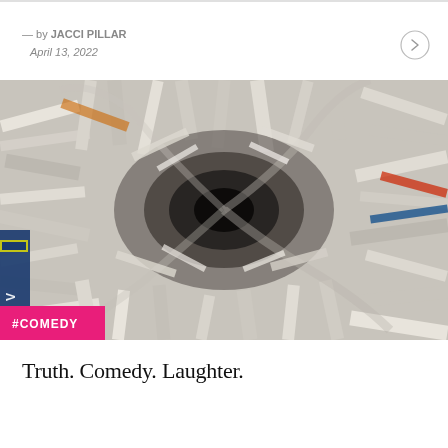— by JACCI PILLAR
April 13, 2022
[Figure (photo): A large swirling pile of books, magazines and newspapers photographed from above, creating a vortex-like visual. A pink tag reading #COMEDY is overlaid in the bottom-left corner.]
Truth. Comedy. Laughter.